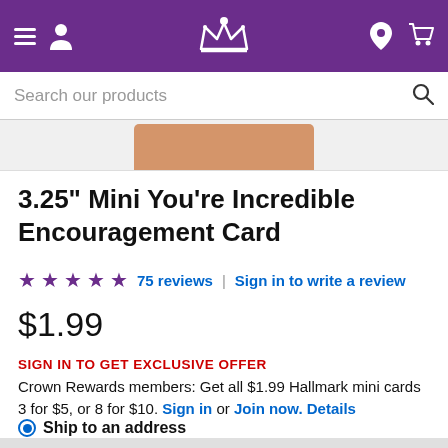Navigation bar with hamburger menu, user icon, crown logo, location pin, and cart icon
Search our products
[Figure (photo): Partial view of a greeting card with tan/orange color visible at top]
3.25" Mini You're Incredible Encouragement Card
★★★★★ 75 reviews | Sign in to write a review
$1.99
SIGN IN TO GET EXCLUSIVE OFFER
Crown Rewards members: Get all $1.99 Hallmark mini cards 3 for $5, or 8 for $10. Sign in or Join now. Details
Ship to an address
Arrives: Mon 08/29 - Thu 09/01